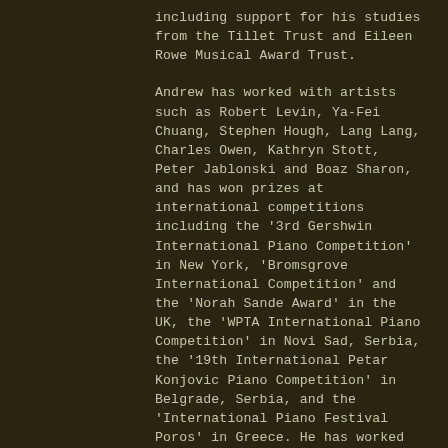including support for his studies from the Tillet Trust and Eileen Rowe Musical Award Trust.
Andrew has worked with artists such as Robert Levin, Ya-Fei Chuang, Stephen Hough, Lang Lang, Charles Owen, Kathryn Stott, Peter Jablonski and Boaz Sharon, and has won prizes at international competitions including the '3rd Gershwin International Piano Competition' in New York, 'Bromsgrove International Competition' and the 'Norah Sande Award' in the UK, the 'WPTA International Piano Competition' in Novi Sad, Serbia, the '19th International Petar Konjovic Piano Competition' in Belgrade, Serbia, and the 'International Piano Festival Poros' in Greece. He has worked with artists from various chamber ensembles including the Bardolino Trio, Elias Quartet, Callino Quartet, Sacconi Quartet and the Hei...